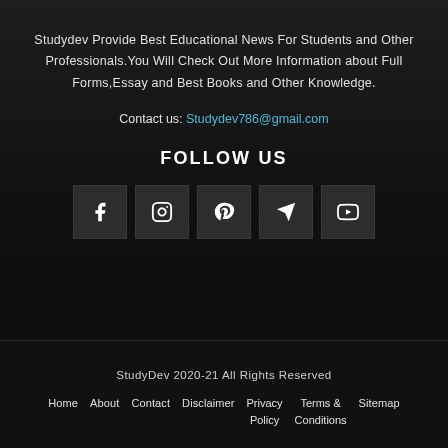Studydev Provide Best Educational News For Students and Other Professionals.You Will Check Out More Information about Full Forms,Essay and Best Books and Other Knowledge.
Contact us: Studydev786@gmail.com
FOLLOW US
[Figure (infographic): Row of 5 social media icon buttons: Facebook, Instagram, Pinterest, Telegram, YouTube]
StudyDev 2020-21 All Rights Reserved
Home  About  Contact  Disclaimer  Privacy Policy  Terms & Conditions  Sitemap